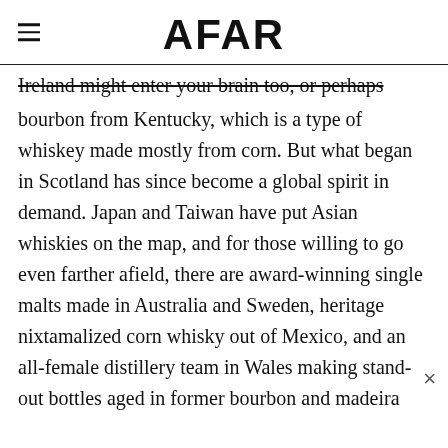AFAR
Ireland might enter your brain too, or perhaps
bourbon from Kentucky, which is a type of whiskey made mostly from corn. But what began in Scotland has since become a global spirit in demand. Japan and Taiwan have put Asian whiskies on the map, and for those willing to go even farther afield, there are award-winning single malts made in Australia and Sweden, heritage nixtamalized corn whisky out of Mexico, and an all-female distillery team in Wales making stand-out bottles aged in former bourbon and madeira